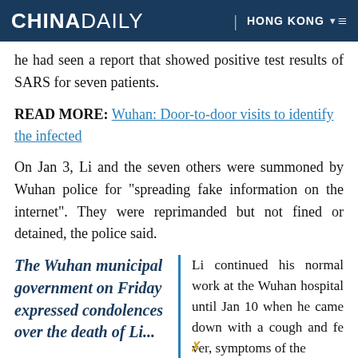CHINA DAILY | HONG KONG
he had seen a report that showed positive test results of SARS for seven patients.
READ MORE: Wuhan: Door-to-door visits to identify the infected
On Jan 3, Li and the seven others were summoned by Wuhan police for "spreading fake information on the internet". They were reprimanded but not fined or detained, the police said.
The Wuhan municipal government on Friday expressed condolences over the death of Li...
Li continued his normal work at the Wuhan hospital until Jan 10 when he came down with a cough and fever, symptoms of the